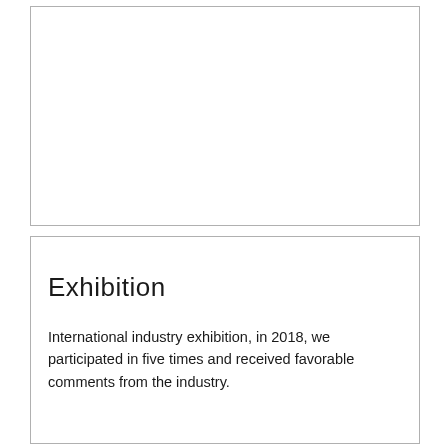[Figure (other): Empty white box at the top of the page with a light grey border]
Exhibition
International industry exhibition, in 2018, we participated in five times and received favorable comments from the industry.